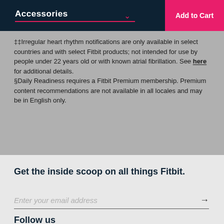Accessories / Add to Cart
‡‡Irregular heart rhythm notifications are only available in select countries and with select Fitbit products; not intended for use by people under 22 years old or with known atrial fibrillation. See here for additional details.
§Daily Readiness requires a Fitbit Premium membership. Premium content recommendations are not available in all locales and may be in English only.
Get the inside scoop on all things Fitbit.
Enter your email address
Follow us